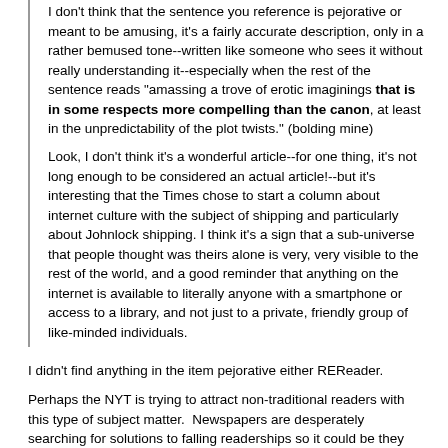I don't think that the sentence you reference is pejorative or meant to be amusing, it's a fairly accurate description, only in a rather bemused tone--written like someone who sees it without really understanding it--especially when the rest of the sentence reads "amassing a trove of erotic imaginings that is in some respects more compelling than the canon, at least in the unpredictability of the plot twists." (bolding mine)
Look, I don't think it's a wonderful article--for one thing, it's not long enough to be considered an actual article!--but it's interesting that the Times chose to start a column about internet culture with the subject of shipping and particularly about Johnlock shipping. I think it's a sign that a sub-universe that people thought was theirs alone is very, very visible to the rest of the world, and a good reminder that anything on the internet is available to literally anyone with a smartphone or access to a library, and not just to a private, friendly group of like-minded individuals.
I didn't find anything in the item pejorative either REReader.
Perhaps the NYT is trying to attract non-traditional readers with this type of subject matter.  Newspapers are desperately searching for solutions to falling readerships so it could be they hope to tap into less conventional "eyes" - those who usually would gravitate towards tumblr, twitter or other online sources of material.  By doing something on shipping/fanart it might be their way of looking more in the internet cultural "loop" perhaps (because although fanfic has been around pre-internet, it is still something that became more prevasive since the internet expanded)?